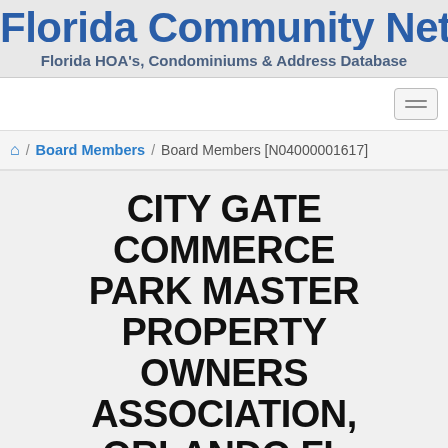Florida Community Network
Florida HOA's, Condominiums & Address Database
Board Members / Board Members [N04000001617]
CITY GATE COMMERCE PARK MASTER PROPERTY OWNERS ASSOCIATION, ORLANDO FL
CITY GATE COMMERCE PARK MASTER